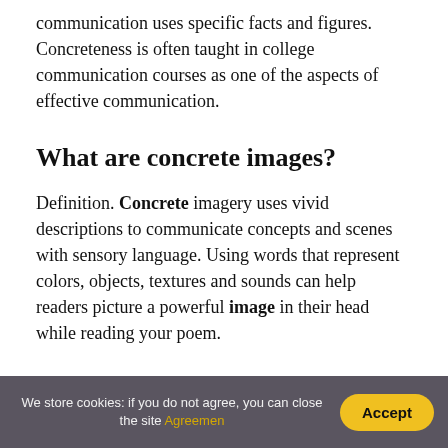communication uses specific facts and figures. Concreteness is often taught in college communication courses as one of the aspects of effective communication.
What are concrete images?
Definition. Concrete imagery uses vivid descriptions to communicate concepts and scenes with sensory language. Using words that represent colors, objects, textures and sounds can help readers picture a powerful image in their head while reading your poem.
We store cookies: if you do not agree, you can close the site Agreement | Accept